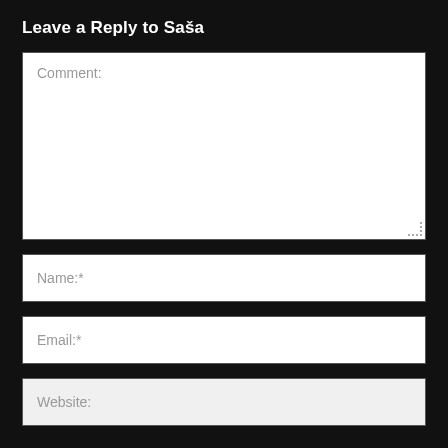Leave a Reply to Saša
Comment:
Name:*
Email:*
Website:
Save my name, email, and website in this browser for the next time I comment.